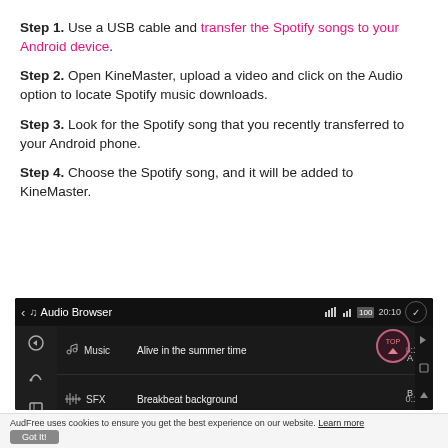Step 1. Use a USB cable and transfer the Spotify songs to your Android device.
Step 2. Open KineMaster, upload a video and click on the Audio option to locate Spotify music downloads.
Step 3. Look for the Spotify song that you recently transferred to your Android phone.
Step 4. Choose the Spotify song, and it will be added to KineMaster.
[Figure (screenshot): Screenshot of KineMaster Audio Browser showing Music, SFX, and Recorded categories with song listings: Alive in the summer time (0:13), Breakbeat background (0:15), Elegance (0:28)]
AudFree uses cookies to ensure you get the best experience on our website. Learn more Got It!